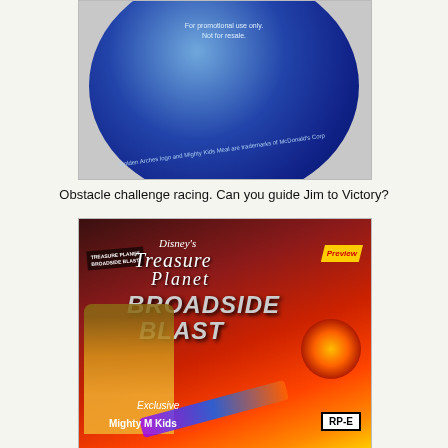[Figure (photo): A blue promotional CD/disc showing text 'For promotional use only. Not for resale.' and 'Golden Arches logo and Mighty Kids Meal are trademarks of McDonald's Corp']
Obstacle challenge racing. Can you guide Jim to Victory?
[Figure (photo): Box art for Disney's Treasure Planet: Broadside Blast game CD-ROM. Shows animated character, game title, 'Preview', 'Exclusive', 'Mighty McD Kids' branding, and RP-E rating.]